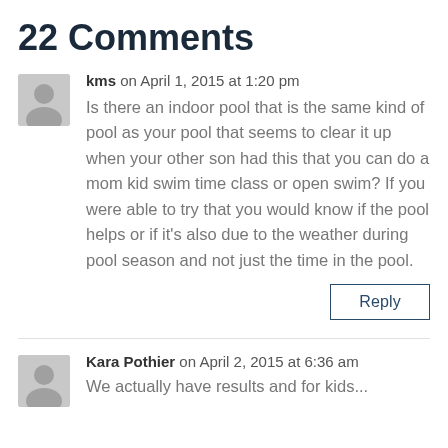22 Comments
kms on April 1, 2015 at 1:20 pm
Is there an indoor pool that is the same kind of pool as your pool that seems to clear it up when your other son had this that you can do a mom kid swim time class or open swim? If you were able to try that you would know if the pool helps or if it's also due to the weather during pool season and not just the time in the pool.
Reply
Kara Pothier on April 2, 2015 at 6:36 am
We actually have results and for kids...